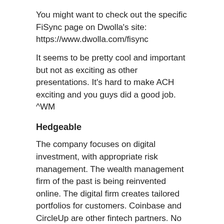You might want to check out the specific FiSync page on Dwolla's site: https://www.dwolla.com/fisync
It seems to be pretty cool and important but not as exciting as other presentations. It's hard to make ACH exciting and you guys did a good job. ^WM
Hedgeable
The company focuses on digital investment, with appropriate risk management. The wealth management firm of the past is being reinvented online. The digital firm creates tailored portfolios for customers. Coinbase and CircleUp are other fintech partners. No 3rd-party funds or managers are used. Minimum investment is $5k, and accounts are opened online. This robo-advisor allows people to invest in bitcoin. They are working with financial advisors and broker-dealers as partners. ^SR
04:13 pm